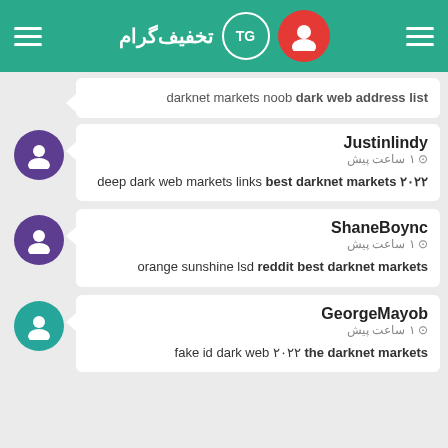تخفیف‌گرام TG
darknet markets noob dark web address list
Justinlindy · ۱ ساعت پیش · deep dark web markets links best darknet markets ۲۰۲۲
ShaneBoync · ۱ ساعت پیش · orange sunshine lsd reddit best darknet markets
GeorgeMayob · ۱ ساعت پیش · fake id dark web ۲۰۲۲ the darknet markets